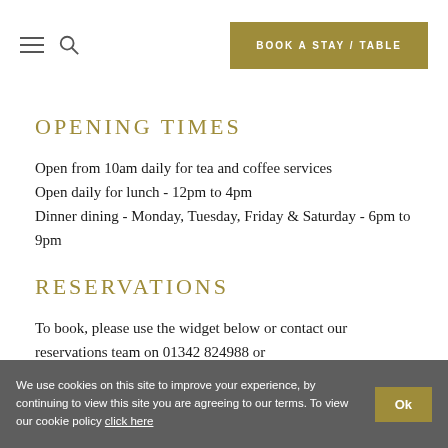BOOK A STAY / TABLE
OPENING TIMES
Open from 10am daily for tea and coffee services
Open daily for lunch - 12pm to 4pm
Dinner dining - Monday, Tuesday, Friday & Saturday - 6pm to 9pm
RESERVATIONS
To book, please use the widget below or contact our reservations team on 01342 824988 or
We use cookies on this site to improve your experience, by continuing to view this site you are agreeing to our terms. To view our cookie policy click here